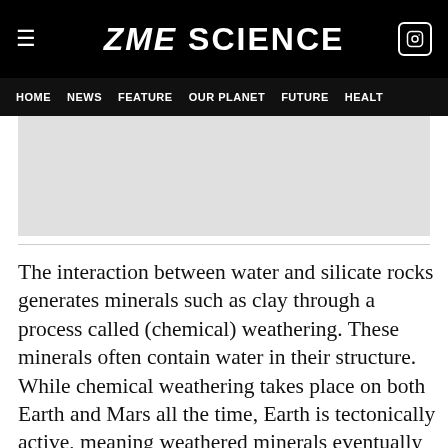ZME SCIENCE
HOME  NEWS  FEATURE  OUR PLANET  FUTURE  HEALT
[Figure (other): Gray advertisement block]
The interaction between water and silicate rocks generates minerals such as clay through a process called (chemical) weathering. These minerals often contain water in their structure. While chemical weathering takes place on both Earth and Mars all the time, Earth is tectonically active, meaning weathered minerals eventually find their way back into the mantle where they're recycled, which brings the water back out...